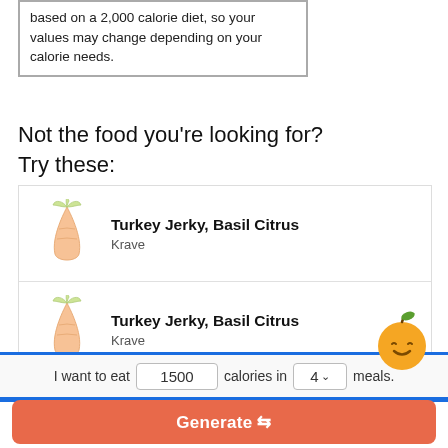based on a 2,000 calorie diet, so your values may change depending on your calorie needs.
Not the food you're looking for? Try these:
Turkey Jerky, Basil Citrus - Krave
Turkey Jerky, Basil Citrus - Krave
Try our free Diet Generator [collapse]
I want to eat 1500 calories in 4 meals.
Generate